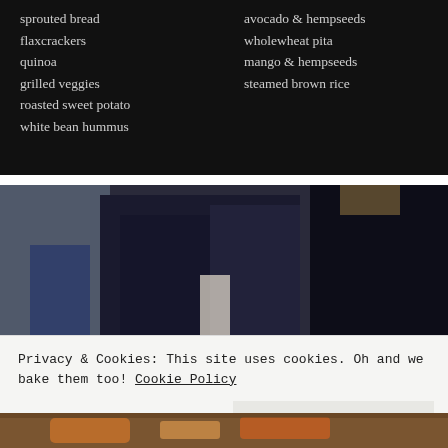[Figure (photo): Dark chalkboard-style menu showing food items in two columns on black background]
sprouted bread
flaxcrackers
quinoa
grilled veggies
roasted sweet potato
white bean hummus
avocado & hempseeds
wholewheat pita
mango & hempseeds
steamed brown rice
[Figure (photo): Person in dark navy blazer, partial body shot in indoor setting]
Privacy & Cookies: This site uses cookies. Oh and we bake them too! Cookie Policy
[Figure (photo): Partial view of food/dish at bottom of page]